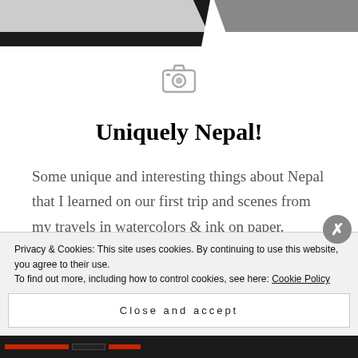[Figure (screenshot): Browser tab navigation bar with dark background and multiple tabs visible]
[Figure (illustration): Gray camera/photo placeholder icon]
Uniquely Nepal!
Some unique and interesting things about Nepal that I learned on our first trip and scenes from my travels in watercolors & ink on paper.
[Figure (illustration): Blue gradient banner area]
Privacy & Cookies: This site uses cookies. By continuing to use this website, you agree to their use.
To find out more, including how to control cookies, see here: Cookie Policy
Close and accept